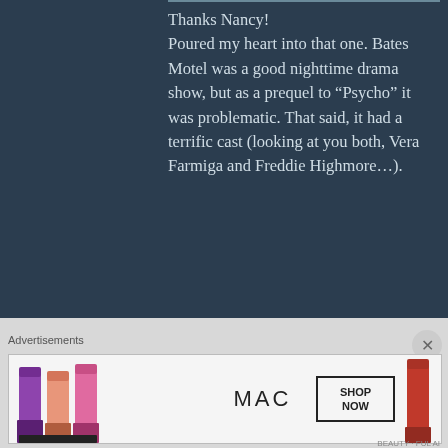Thanks Nancy!
Poured my heart into that one. Bates Motel was a good nighttime drama show, but as a prequel to “Psycho” it was problematic. That said, it had a terrific cast (looking at you both, Vera Farmiga and Freddie Highmore...).
★ Liked by 2 people
SCOTTY ROBSON says:
October 12, 2020 at 10:41 pm
↩ Reply
Advertisements
[Figure (photo): MAC cosmetics advertisement banner showing lipsticks in various colors (purple, peach, pink, red) with MAC logo and SHOP NOW button]